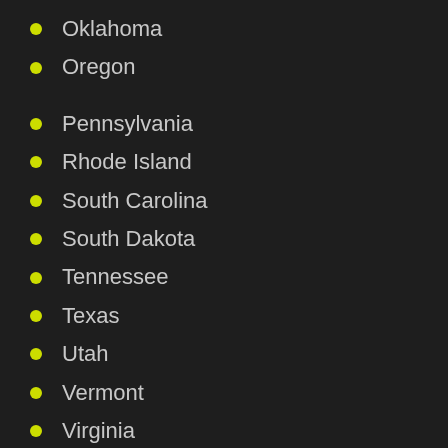Oklahoma
Oregon
Pennsylvania
Rhode Island
South Carolina
South Dakota
Tennessee
Texas
Utah
Vermont
Virginia
Washington
West Virginia